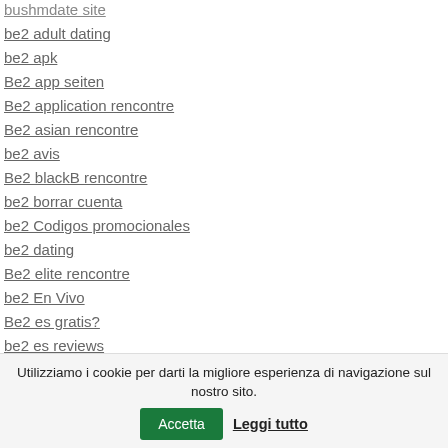bushmdate site
be2 adult dating
be2 apk
Be2 app seiten
Be2 application rencontre
Be2 asian rencontre
be2 avis
Be2 blackB rencontre
be2 borrar cuenta
be2 Codigos promocionales
be2 dating
Be2 elite rencontre
be2 En Vivo
Be2 es gratis?
be2 es reviews
be2 hookup
Utilizziamo i cookie per darti la migliore esperienza di navigazione sul nostro sito. Accetta Leggi tutto